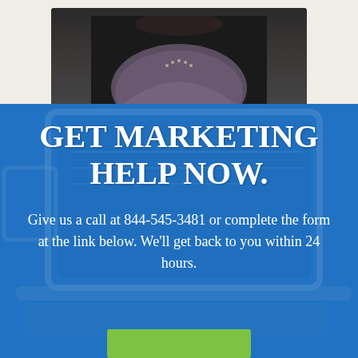[Figure (photo): Partial photo of a person (woman) wearing a patterned top and beaded necklace, cropped at top, shown against dark background, positioned at top of page]
[Figure (photo): Blue banner background with laptop/computer devices visible as semi-transparent overlay, containing marketing call-to-action text and a green button at the bottom]
GET MARKETING HELP NOW.
Give us a call at 844-545-3481 or complete the form at the link below. We'll get back to you within 24 hours.